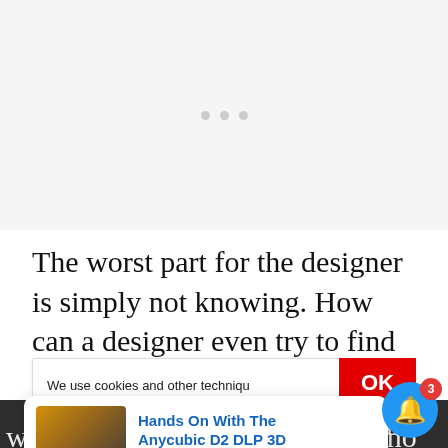[Figure (other): Light gray placeholder image area with three small gray dots centered, indicating a loading or empty media slot]
The worst part for the designer is simply not knowing. How can a designer even try to find these
We use cookies and other techniqu
[Figure (other): Popup notification card showing a thumbnail of a 3D printer (Anycubic D2 DLP 3D) with title 'Hands On With The Anycubic D2 DLP 3D' and timestamp '11 hours ago']
dictions
where even if detected, there is no legal means